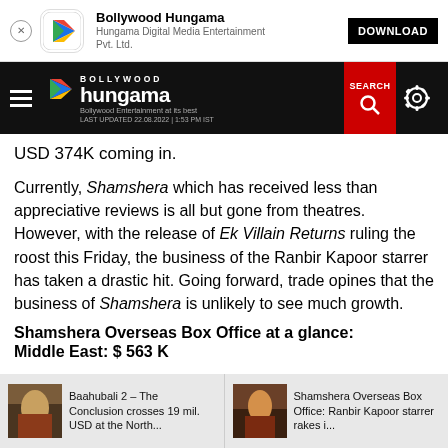[Figure (screenshot): App install banner for Bollywood Hungama app with close button, app icon, app name, publisher and DOWNLOAD button]
[Figure (screenshot): Bollywood Hungama website navigation bar with hamburger menu, logo, SEARCH button in red, and settings gear icon. Last updated 22.08.2022 | 1:53 PM IST]
USD 374K coming in.
Currently, Shamshera which has received less than appreciative reviews is all but gone from theatres. However, with the release of Ek Villain Returns ruling the roost this Friday, the business of the Ranbir Kapoor starrer has taken a drastic hit. Going forward, trade opines that the business of Shamshera is unlikely to see much growth.
Shamshera Overseas Box Office at a glance:
Middle East: $ 563 K
[Figure (screenshot): Related article thumbnail: Baahubali 2 – The Conclusion crosses 19 mil. USD at the North...]
[Figure (screenshot): Related article thumbnail: Shamshera Overseas Box Office: Ranbir Kapoor starrer rakes i...]